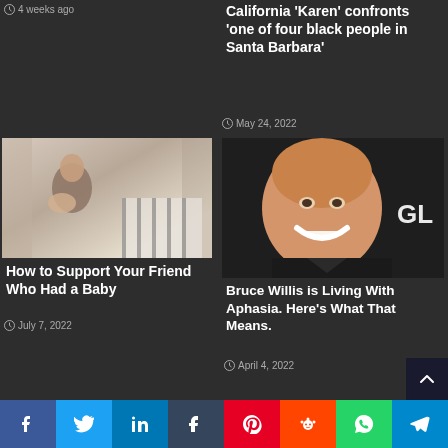4 weeks ago
California 'Karen' confronts 'one of four black people in Santa Barbara'
May 24, 2022
[Figure (photo): Woman holding a baby near a crib]
How to Support Your Friend Who Had a Baby
July 7, 2022
[Figure (photo): Bruce Willis smiling in front of a GL sign]
Bruce Willis is Living With Aphasia. Here's What That Means.
April 4, 2022